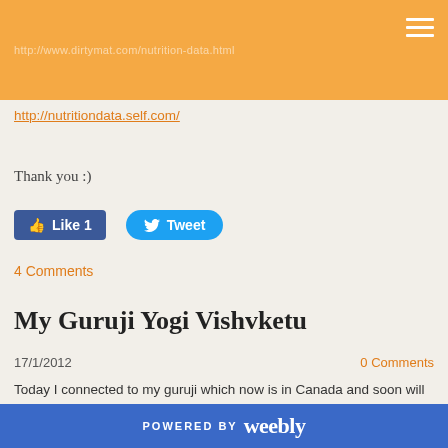http://www.dirtymat.com/nutrition-data.html
http://nutritiondata.self.com/
Thank you :)
[Figure (screenshot): Facebook Like button showing count of 1 and Twitter Tweet button]
4 Comments
My Guruji Yogi Vishvketu
17/1/2012
0 Comments
Today I connected to my guruji which now is in Canada and soon will go back to India to run a teacher training.
So I thought to share with you the link to his website as he is amazing and I wish for anyone to be able to attend his course.
POWERED BY weebly